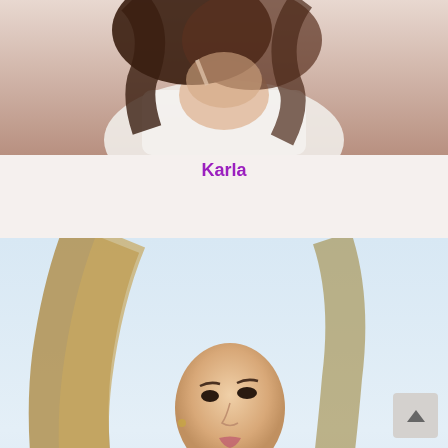[Figure (photo): Partial photo of a woman named Karla, cropped showing torso in white clothing with dark hair, top portion of image visible]
Karla
[Figure (photo): Full photo of a woman named Linda with long blonde/brown hair wearing a black fur coat, standing in a snowy outdoor setting, watermark 'Escortzone.com' visible]
Linda
[Figure (photo): Partial photo of a third woman with blonde hair, cropped showing top of head/face, cut off at bottom of page]